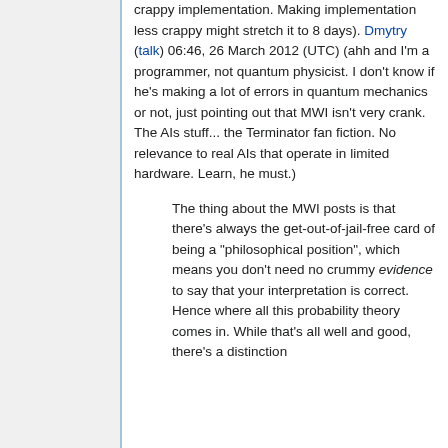crappy implementation. Making implementation less crappy might stretch it to 8 days). Dmytry (talk) 06:46, 26 March 2012 (UTC) (ahh and I'm a programmer, not quantum physicist. I don't know if he's making a lot of errors in quantum mechanics or not, just pointing out that MWI isn't very crank. The AIs stuff... the Terminator fan fiction. No relevance to real AIs that operate in limited hardware. Learn, he must.)
The thing about the MWI posts is that there's always the get-out-of-jail-free card of being a "philosophical position", which means you don't need no crummy evidence to say that your interpretation is correct. Hence where all this probability theory comes in. While that's all well and good, there's a distinction